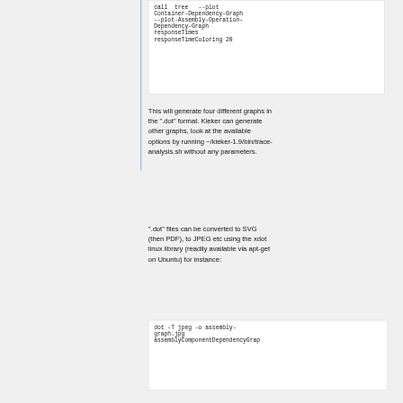call  tree   --plot-Container-Dependency-Graph --plot-Assembly-Operation-Dependency-Graph responseTimes responseTimeColoring 20
This will generate four different graphs in the ".dot" format. Kieker can generate other graphs, look at the available options by running ~/kieker-1.9/bin/trace-analysis.sh without any parameters.
".dot" files can be converted to SVG (then PDF), to JPEG etc using the xdot linux library (readily available via apt-get on Ubuntu) for instance:
dot -T jpeg -o assembly-graph.jpg assemblyComponentDependencyGrap